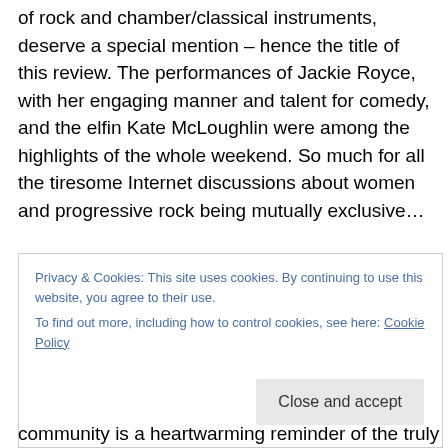of rock and chamber/classical instruments, deserve a special mention – hence the title of this review. The performances of Jackie Royce, with her engaging manner and talent for comedy, and the elfin Kate McLoughlin were among the highlights of the whole weekend. So much for all the tiresome Internet discussions about women and progressive rock being mutually exclusive…
At the end of my review, I would like to extend my heartfelt thanks to the organizers for all their hard work and dedication, and state once again that they can always
Privacy & Cookies: This site uses cookies. By continuing to use this website, you agree to their use.
To find out more, including how to control cookies, see here: Cookie Policy
community is a heartwarming reminder of the truly